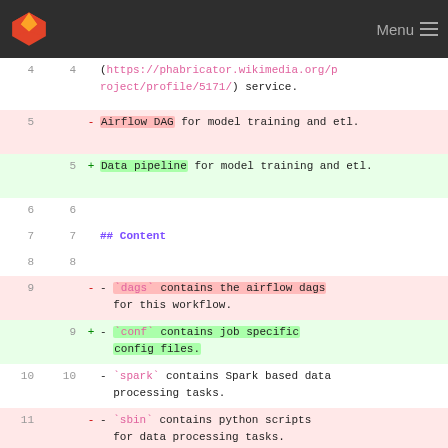Menu
(https://phabricator.wikimedia.org/project/profile/5171/) service.
5 - Airflow DAG for model training and etl.
5 + Data pipeline for model training and etl.
6 6
7 7 ## Content
8 8
9 - - `dags` contains the airflow dags for this workflow.
9 + - `conf` contains job specific config files.
10 10 - `spark` contains Spark based data processing tasks.
11 - - `sbin` contains python scripts for data processing tasks.
12 11 - `sql` contains SQL/HQL based data processing tasks.